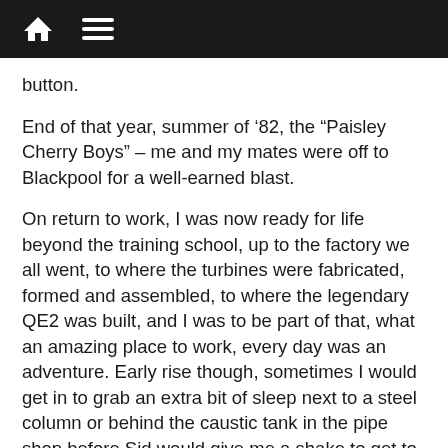Navigation bar with home icon and menu icon
button.
End of that year, summer of ‘82, the “Paisley Cherry Boys” – me and my mates were off to Blackpool for a well-earned blast.
On return to work, I was now ready for life beyond the training school, up to the factory we all went, to where the turbines were fabricated, formed and assembled, to where the legendary QE2 was built, and I was to be part of that, what an amazing place to work, every day was an adventure. Early rise though, sometimes I would get in to grab an extra bit of sleep next to a steel column or behind the caustic tank in the pipe shop before Sid would give me a shake to get to work!
3 more years were ahead of me before my time was out; working with these wonderful people, I recall fondly on my journeymen and mentors: